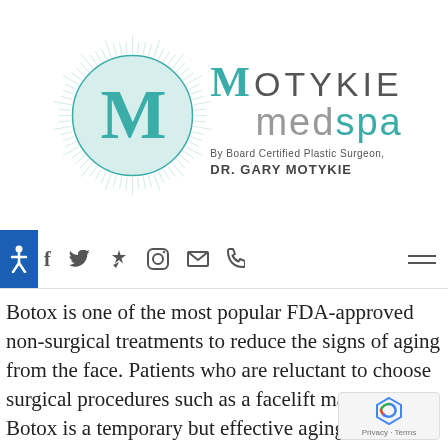[Figure (logo): Motykie MedSpa logo with circular radiating lines graphic and teal M letter, accompanied by text 'MOTYKIE medspa By Board Certified Plastic Surgeon, DR. GARY MOTYKIE']
Botox is one of the most popular FDA-approved non-surgical treatments to reduce the signs of aging from the face. Patients who are reluctant to choose surgical procedures such as a facelift may consider Botox is a temporary but effective aging solution